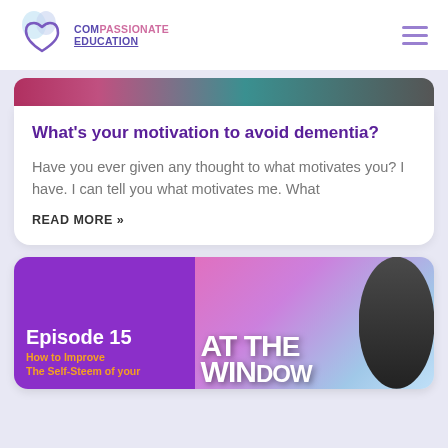Compassionate Education
[Figure (photo): Partially visible cropped banner image at top of content area, showing colorful background]
What's your motivation to avoid dementia?
Have you ever given any thought to what motivates you? I have. I can tell you what motivates me. What
READ MORE »
[Figure (photo): Episode 15 card: purple left panel with 'Episode 15' in white and 'How to Improve The Self-Steem of your' in orange. Right panel shows 'AT THE WINDOW' text overlay and a woman with short dark hair smiling.]